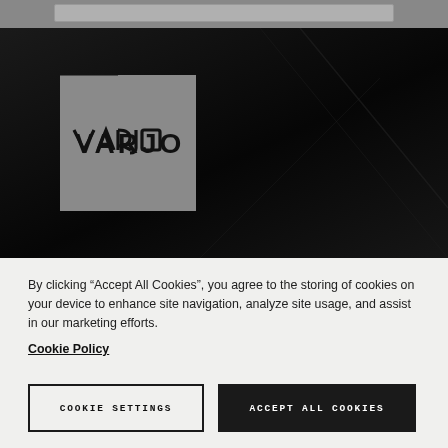[Figure (screenshot): Varjo website hero section with dark background showing a Varjo VR/XR headset, with the Varjo logo in a grey box on the left side]
By clicking “Accept All Cookies”, you agree to the storing of cookies on your device to enhance site navigation, analyze site usage, and assist in our marketing efforts. Cookie Policy
COOKIE SETTINGS
ACCEPT ALL COOKIES